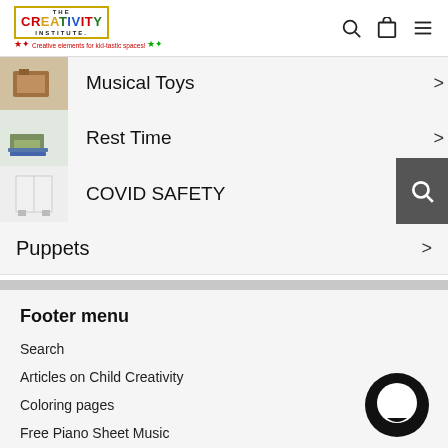[Figure (logo): The Creativity Institute logo with colorful letters and tagline 'Creative elements for kid-tastic spaces!']
Musical Toys
Rest Time
COVID SAFETY
Puppets
Footer menu
Search
Articles on Child Creativity
Coloring pages
Free Piano Sheet Music